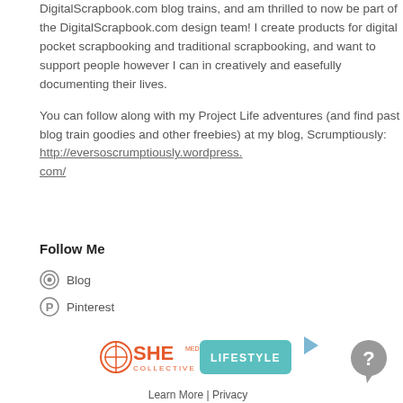DigitalScrapbook.com blog trains, and am thrilled to now be part of the DigitalScrapbook.com design team! I create products for digital pocket scrapbooking and traditional scrapbooking, and want to support people however I can in creatively and easefully documenting their lives.
You can follow along with my Project Life adventures (and find past blog train goodies and other freebies) at my blog, Scrumptiously: http://eversoscrumptiously.wordpress.com/
Follow Me
Blog
Pinterest
[Figure (logo): SHE Media Collective Lifestyle advertisement banner with Learn More and Privacy links]